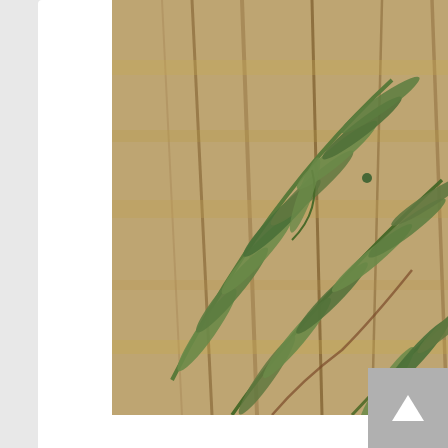[Figure (photo): Close-up photograph of eucalyptus branch with long narrow green-grey leaves and dried brown foliage in background]
Eucalyptus Australiana Organic Essential Oil
$8.81 – $211.60
SELECT
[Figure (photo): Partially visible product image with blue sky background, bottom of page]